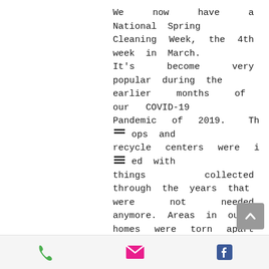We now have a National Spring Cleaning Week, the 4th week in March. It's become very popular during the earlier months of our COVID-19 Pandemic of 2019. Th [icon] ops and recycle centers were i [icon] ed with things collected through the years that were not needed anymore. Areas in our homes were torn apart and cleaned like never before in our busy lives. It's a week that can produce improved moods, decreased stress, and increase creativity. Imagine though waiting for March to begin cleaning. In America since the 1800s, cleaning has gone through quite a few changes. Now daily and weekly cleans often are a priority and not just seasonal. The best time for dusting and cleaning was March because it was
[phone icon] [email icon] [facebook icon]